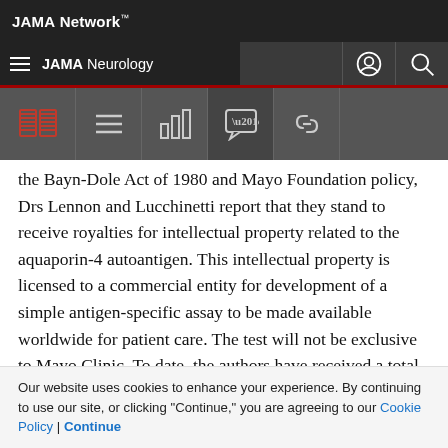JAMA Network
JAMA Neurology
the Bayn-Dole Act of 1980 and Mayo Foundation policy, Drs Lennon and Lucchinetti report that they stand to receive royalties for intellectual property related to the aquaporin-4 autoantigen. This intellectual property is licensed to a commercial entity for development of a simple antigen-specific assay to be made available worldwide for patient care. The test will not be exclusive to Mayo Clinic. To date, the authors have received a total of less than $10 000 in royalties. Mayo Clinic offers the
Our website uses cookies to enhance your experience. By continuing to use our site, or clicking "Continue," you are agreeing to our Cookie Policy | Continue